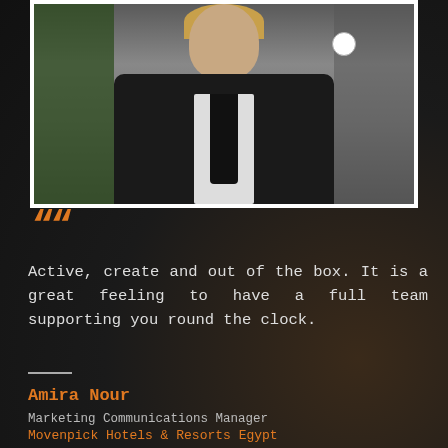[Figure (photo): Portrait photo of a woman in a black jacket with white shirt, standing outdoors with greenery in background. She wears a name badge. Photo has white border.]
““
Active, create and out of the box. It is a great feeling to have a full team supporting you round the clock.
Amira Nour
Marketing Communications Manager
Movenpick Hotels & Resorts Egypt